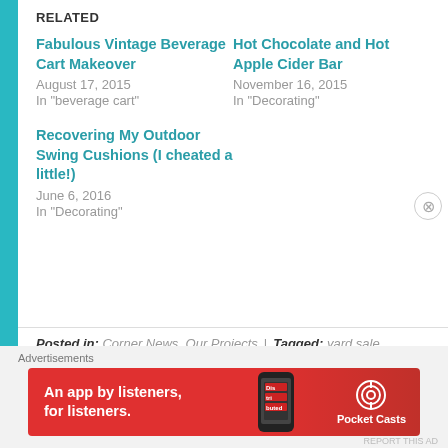RELATED
Fabulous Vintage Beverage Cart Makeover
August 17, 2015
In "beverage cart"
Hot Chocolate and Hot Apple Cider Bar
November 16, 2015
In "Decorating"
Recovering My Outdoor Swing Cushions (I cheated a little!)
June 6, 2016
In "Decorating"
Posted in: Corner News, Our Projects  |  Tagged: yard sale
Advertisements
[Figure (illustration): Pocket Casts advertisement banner: red background with phone image showing app, text 'An app by listeners, for listeners.' and Pocket Casts logo on the right.]